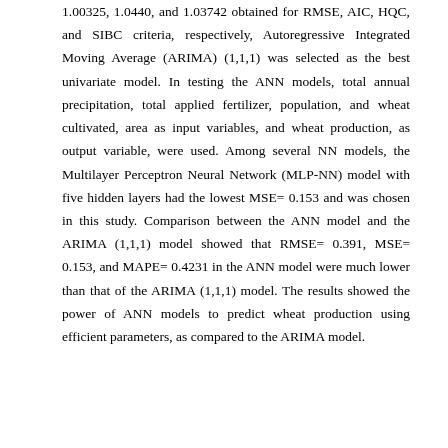1.00325, 1.0440, and 1.03742 obtained for RMSE, AIC, HQC, and SIBC criteria, respectively, Autoregressive Integrated Moving Average (ARIMA) (1,1,1) was selected as the best univariate model. In testing the ANN models, total annual precipitation, total applied fertilizer, population, and wheat cultivated, area as input variables, and wheat production, as output variable, were used. Among several NN models, the Multilayer Perceptron Neural Network (MLP-NN) model with five hidden layers had the lowest MSE= 0.153 and was chosen in this study. Comparison between the ANN model and the ARIMA (1,1,1) model showed that RMSE= 0.391, MSE= 0.153, and MAPE= 0.4231 in the ANN model were much lower than that of the ARIMA (1,1,1) model. The results showed the power of ANN models to predict wheat production using efficient parameters, as compared to the ARIMA model.